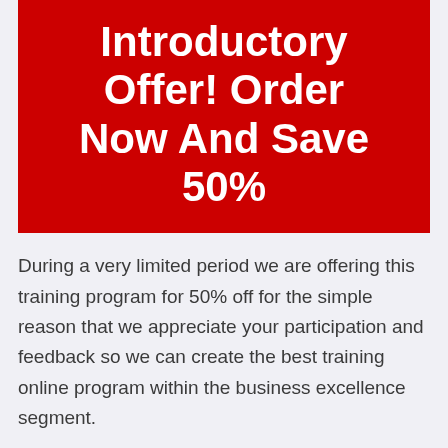Introductory Offer! Order Now And Save 50%
During a very limited period we are offering this training program for 50% off for the simple reason that we appreciate your participation and feedback so we can create the best training online program within the business excellence segment.
You Get Immmediate Access